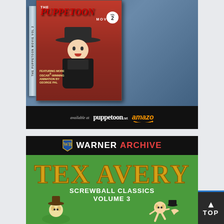[Figure (illustration): Advertisement for The Puppetoon Movie Volume 2 Blu-ray/DVD. Shows product box with a puppet doll figure wearing a black dress and wide-brimmed hat against a red background. Text on cover: 'The Puppetoon Movie Volume 2', 'Featuring MORE Oscar-Winning Animation by George Pal'. Bottom bar shows availability: 'available at puppetoon.net' and 'amazon'.]
[Figure (illustration): Advertisement for Warner Archive: Tex Avery Screwball Classics Volume 3. Black header bar with WB shield logo, 'WARNER ARCHIVE' in white and red text. Below is a green background with 'TEX AVERY' in large decorative gold letters, 'SCREWBALL CLASSICS VOLUME 3' subtitle, and cartoon character illustrations.]